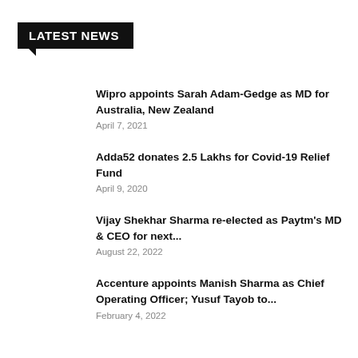LATEST NEWS
Wipro appoints Sarah Adam-Gedge as MD for Australia, New Zealand
April 7, 2021
Adda52 donates 2.5 Lakhs for Covid-19 Relief Fund
April 9, 2020
Vijay Shekhar Sharma re-elected as Paytm's MD & CEO for next...
August 22, 2022
Accenture appoints Manish Sharma as Chief Operating Officer; Yusuf Tayob to...
February 4, 2022